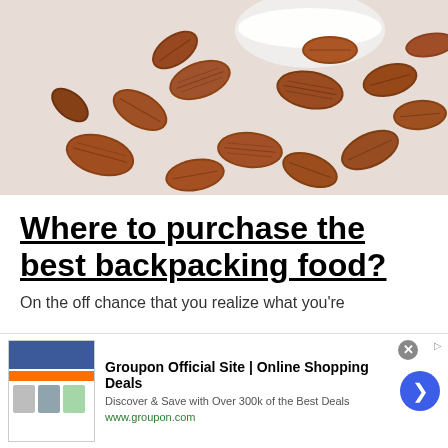[Figure (photo): Close-up photograph of raw almonds scattered on a white surface, with a small white bowl partially visible in the background. The almonds are brown with visible ridges and texture.]
Where to purchase the best backpacking food?
On the off chance that you realize what you're
[Figure (screenshot): Advertisement banner for Groupon Official Site. Shows 'Groupon Official Site | Online Shopping Deals', 'Discover & Save with Over 300k of the Best Deals', 'www.groupon.com'. Has a close button (X), blue arrow button, and small product thumbnail images.]